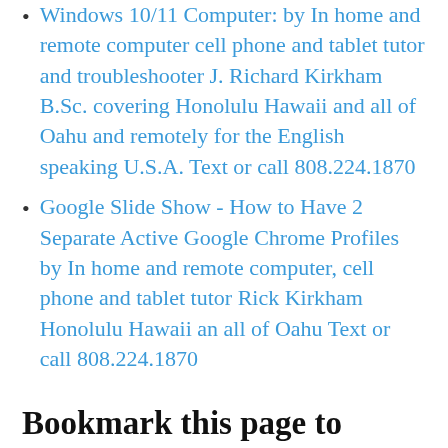Windows 10/11 Computer: by In home and remote computer cell phone and tablet tutor and troubleshooter J. Richard Kirkham B.Sc. covering Honolulu Hawaii and all of Oahu and remotely for the English speaking U.S.A. Text or call 808.224.1870
Google Slide Show - How to Have 2 Separate Active Google Chrome Profiles by In home and remote computer, cell phone and tablet tutor Rick Kirkham Honolulu Hawaii an all of Oahu Text or call 808.224.1870
Bookmark this page to check the Honolulu weather and Hawaii news everyday